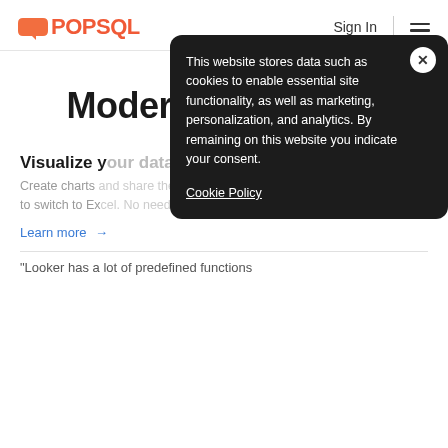POPSQL  Sign In
Modern SQL editor
Visualize your data
Create charts and share them easily to switch to Ex...
Learn more →
This website stores data such as cookies to enable essential site functionality, as well as marketing, personalization, and analytics. By remaining on this website you indicate your consent.
Cookie Policy
"Looker has a lot of predefined functions